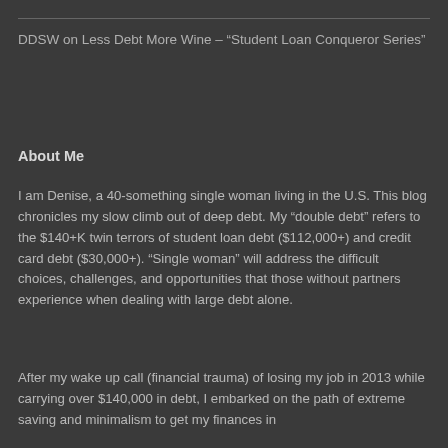DDSW on Less Debt More Wine – “Student Loan Conqueror Series”
About Me
I am Denise, a 40-something single woman living in the U.S. This blog chronicles my slow climb out of deep debt. My “double debt” refers to the $140+K twin terrors of student loan debt ($112,000+) and credit card debt ($30,000+). “Single woman” will address the difficult choices, challenges, and opportunities that those without partners experience when dealing with large debt alone.
After my wake up call (financial trauma) of losing my job in 2013 while carrying over $140,000 in debt, I embarked on the path of extreme saving and minimalism to get my finances in